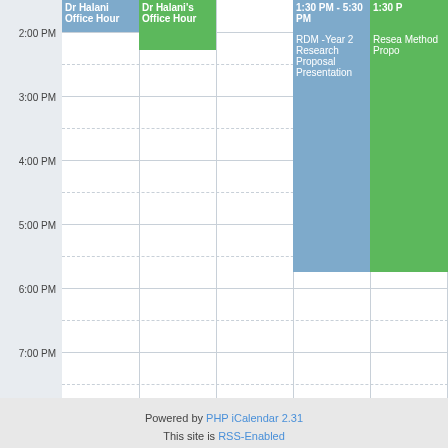[Figure (screenshot): Weekly calendar view showing afternoon time slots (2:00 PM to 7:00 PM) with events: Dr Halani Office Hour (blue, top left column), Dr Halani's Office Hour (green, second column), RDM -Year 2 Research Proposal Presentation (blue, 1:30 PM - 5:30 PM, fourth column), and Research Methods Proposal (green, 1:30 PM, fifth column cut off)]
Powered by PHP iCalendar 2.31
This site is RSS-Enabled